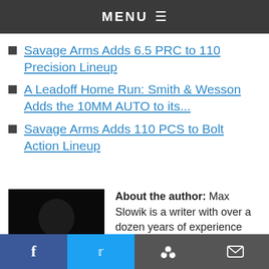MENU
Savage Arms Adds 6.5 PRC to 110 Precision Lineup
A Leadoff Home Run: Smith & Wesson Adds the 10MM AUTO to its...
Savage Arms Adds 110 PCS to Bolt Action Lineup
[Figure (photo): Black and white portrait photo of author Max Slowik]
About the author: Max Slowik is a writer with over a dozen years of experience and is a lifelong shooter. He has unwavering support for the Second Amendment -defense. Like Thomas ofession and a